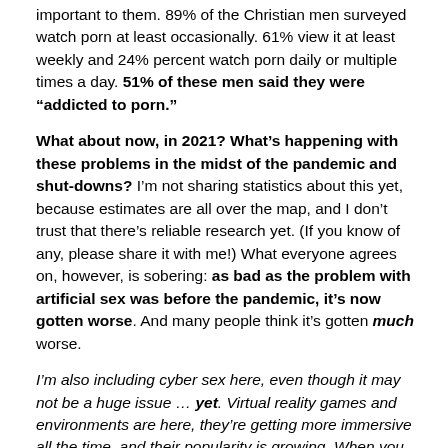important to them. 89% of the Christian men surveyed watch porn at least occasionally. 61% view it at least weekly and 24% percent watch porn daily or multiple times a day. 51% of these men said they were “addicted to porn.”
What about now, in 2021? What’s happening with these problems in the midst of the pandemic and shut-downs? I’m not sharing statistics about this yet, because estimates are all over the map, and I don’t trust that there’s reliable research yet. (If you know of any, please share it with me!) What everyone agrees on, however, is sobering: as bad as the problem with artificial sex was before the pandemic, it’s now gotten worse. And many people think it’s gotten much worse.
I’m also including cyber sex here, even though it may not be a huge issue … yet. Virtual reality games and environments are here, they’re getting more immersive all the time, and their popularity is growing. When you add the improvement of these experiences, and